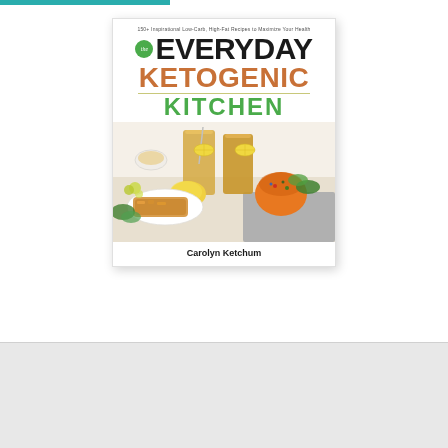150+ Inspirational Low-Carb, High-Fat Recipes to Maximize Your Health
the EVERYDAY KETOGENIC KITCHEN
[Figure (photo): Food photograph showing iced tea drinks with lemon slices, breaded chicken, stuffed tomato, and various dishes on a white background]
Carolyn Ketchum